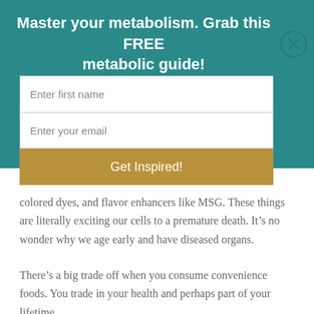Master your metabolism. Grab this FREE metabolic guide!
[Figure (screenshot): Email signup form with two input fields (Enter first name, Enter your email) and a gold 'Get Inspired!' button on teal background, with a close (X) button on the right]
colored dyes, and flavor enhancers like MSG. These things are literally exciting our cells to a premature death. It’s no wonder why we age early and have diseased organs.
There’s a big trade off when you consume convenience foods. You trade in your health and perhaps part of your lifetime.